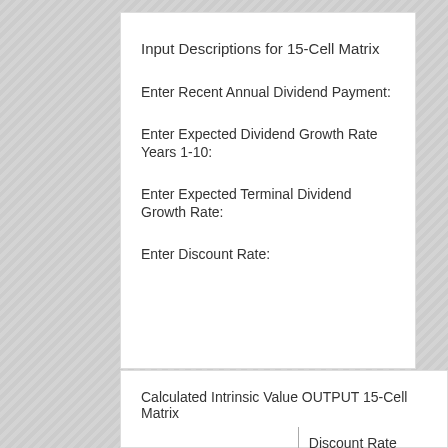Input Descriptions for 15-Cell Matrix
Enter Recent Annual Dividend Payment:
Enter Expected Dividend Growth Rate Years 1-10:
Enter Expected Terminal Dividend Growth Rate:
Enter Discount Rate:
Calculated Intrinsic Value OUTPUT 15-Cell Matrix
|  | Discount Rate (Horizontal) |
| --- | --- |
| Margin of Safety | 8.00% |
| 20% Premium | $144.36 |
| 10% Premium | $132.33 |
| Intrinsic Value | $120.30 |
| 10% Discount | $108.27 |